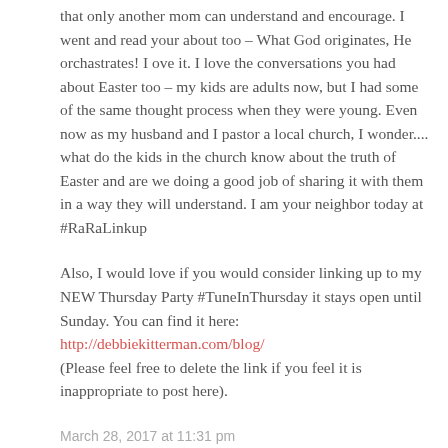that only another mom can understand and encourage. I went and read your about too – What God originates, He orchastrates! I ove it. I love the conversations you had about Easter too – my kids are adults now, but I had some of the same thought process when they were young. Even now as my husband and I pastor a local church, I wonder.... what do the kids in the church know about the truth of Easter and are we doing a good job of sharing it with them in a way they will understand. I am your neighbor today at #RaRaLinkup
Also, I would love if you would consider linking up to my NEW Thursday Party #TuneInThursday it stays open until Sunday. You can find it here: http://debbiekitterman.com/blog/ (Please feel free to delete the link if you feel it is inappropriate to post here).
March 28, 2017 at 11:31 pm